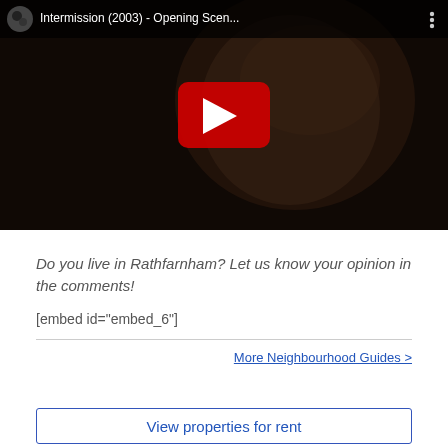[Figure (screenshot): YouTube video thumbnail showing a dark scene with a man's face, red play button in center, video title 'Intermission (2003) - Opening Scen...' in top bar with YouTube moon logo icon and three-dots menu]
Do you live in Rathfarnham? Let us know your opinion in the comments!
[embed id="embed_6"]
More Neighbourhood Guides >
View properties for rent